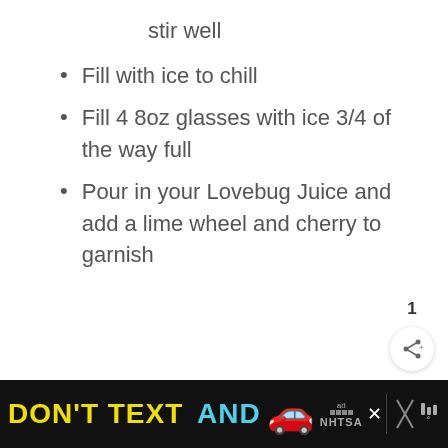stir well
Fill with ice to chill
Fill 4 8oz glasses with ice 3/4 of the way full
Pour in your Lovebug Juice and add a lime wheel and cherry to garnish
[Figure (other): Heart/like button (orange circle with heart icon) and share button with count of 1]
[Figure (other): Advertisement banner: DON'T TEXT AND [car emoji] ad/NHTSA logo with close button and weather icon]